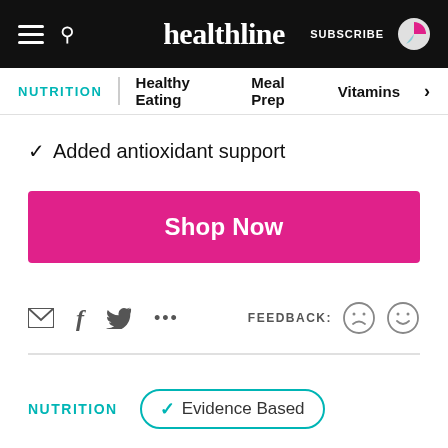healthline — SUBSCRIBE
NUTRITION | Healthy Eating | Meal Prep | Vitamins >
✓ Added antioxidant support
Shop Now
FEEDBACK:
NUTRITION   ✓ Evidence Based